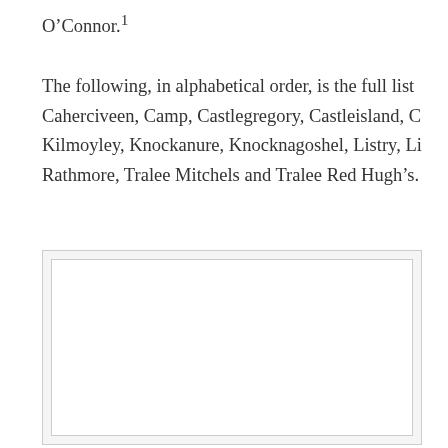O’Connor.¹
The following, in alphabetical order, is the full list Caherciveen, Camp, Castlegregory, Castleisland, C Kilmoyley, Knockanure, Knocknagoshel, Listry, Li Rathmore, Tralee Mitchels and Tralee Red Hugh’s.
[Figure (photo): A blank or mostly white image/photo placeholder with a light gray border and outer box.]